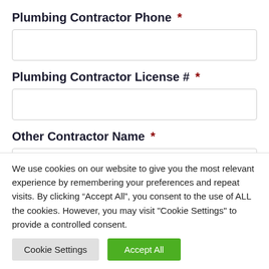Plumbing Contractor Phone *
Plumbing Contractor License # *
Other Contractor Name *
We use cookies on our website to give you the most relevant experience by remembering your preferences and repeat visits. By clicking “Accept All”, you consent to the use of ALL the cookies. However, you may visit "Cookie Settings" to provide a controlled consent.